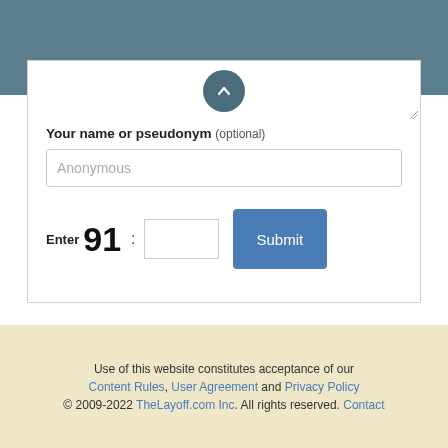[Figure (screenshot): Top navigation bar in teal/slate blue color with a scroll-up circle button at the bottom center]
Your name or pseudonym (optional)
Anonymous
Enter 91 :
Submit
Use of this website constitutes acceptance of our Content Rules, User Agreement and Privacy Policy © 2009-2022 TheLayoff.com Inc. All rights reserved. Contact